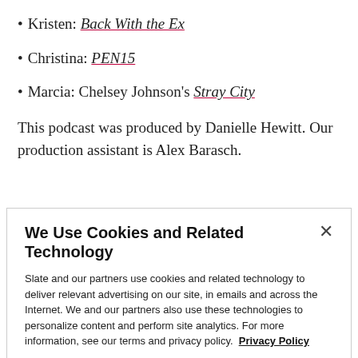Kristen: Back With the Ex
Christina: PEN15
Marcia: Chelsey Johnson's Stray City
This podcast was produced by Danielle Hewitt. Our production assistant is Alex Barasch.
We Use Cookies and Related Technology
Slate and our partners use cookies and related technology to deliver relevant advertising on our site, in emails and across the Internet. We and our partners also use these technologies to personalize content and perform site analytics. For more information, see our terms and privacy policy. Privacy Policy
OK